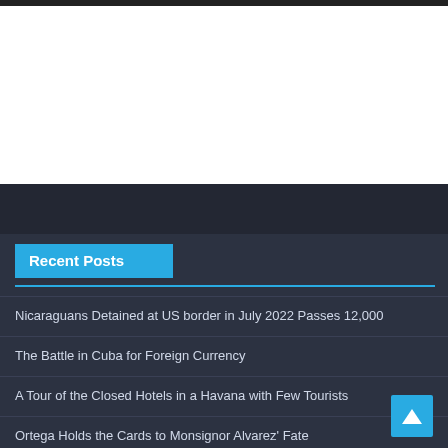Recent Posts
Nicaraguans Detained at US border in July 2022 Passes 12,000
The Battle in Cuba for Foreign Currency
A Tour of the Closed Hotels in a Havana with Few Tourists
Ortega Holds the Cards to Monsignor Alvarez' Fate
A Walk in Old Quebec City, Canada – Photo of the Day